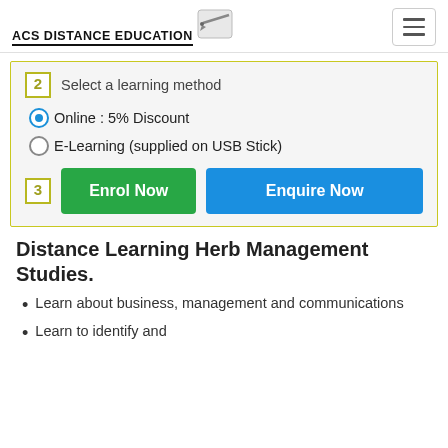ACS Distance Education
2 Select a learning method
Online : 5% Discount
E-Learning (supplied on USB Stick)
3 Enrol Now  Enquire Now
Distance Learning Herb Management Studies.
Learn about business, management and communications
Learn to identify and...